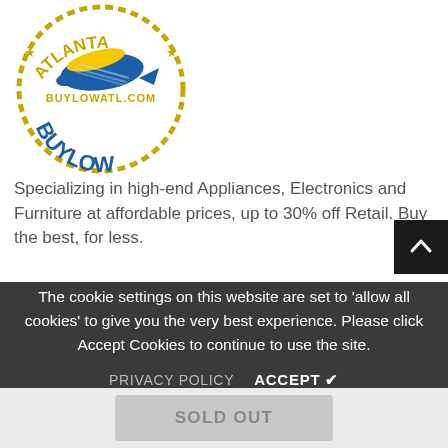[Figure (logo): BuyLow Atlanta logo — circular badge with stars, blue bird/plane graphic, yellow text 'BUYLOWATL.COM' and 'BUYLOW' in blue, 'ATLANTA' in yellow arc]
Specializing in high-end Appliances, Electronics and Furniture at affordable prices, up to 30% off Retail. Buy the best, for less.
Call:
Ordered:
Order History:
The cookie settings on this website are set to 'allow all cookies' to give you the very best experience. Please click Accept Cookies to continue to use the site.
PRIVACY POLICY   ACCEPT ✔
SOLD OUT